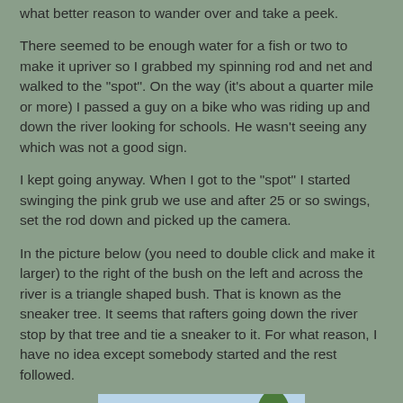what better reason to wander over and take a peek.
There seemed to be enough water for a fish or two to make it upriver so I grabbed my spinning rod and net and walked to the "spot". On the way (it's about a quarter mile or more) I passed a guy on a bike who was riding up and down the river looking for schools. He wasn't seeing any which was not a good sign.
I kept going anyway. When I got to the "spot" I started swinging the pink grub we use and after 25 or so swings, set the rod down and picked up the camera.
In the picture below (you need to double click and make it larger) to the right of the bush on the left and across the river is a triangle shaped bush. That is known as the sneaker tree. It seems that rafters going down the river stop by that tree and tie a sneaker to it. For what reason, I have no idea except somebody started and the rest followed.
[Figure (photo): Outdoor nature photo showing trees and a river scene with blue sky visible through the foliage.]